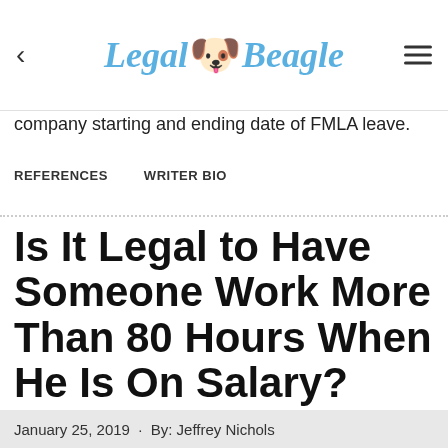Legal Beagle
company starting and ending date of FMLA leave.
REFERENCES   WRITER BIO
Is It Legal to Have Someone Work More Than 80 Hours When He Is On Salary?
January 25, 2019 · By: Jeffrey Nichols